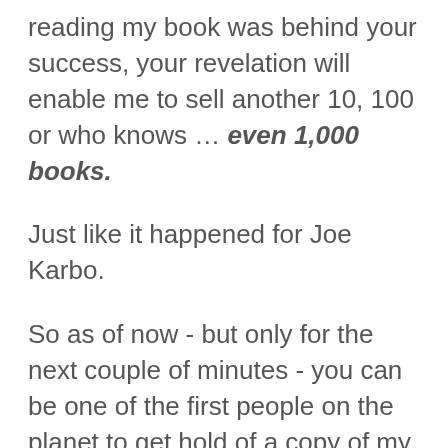reading my book was behind your success, your revelation will enable me to sell another 10, 100 or who knows ... even 1,000 books.
Just like it happened for Joe Karbo.
So as of now - but only for the next couple of minutes - you can be one of the first people on the planet to get hold of a copy of my book.